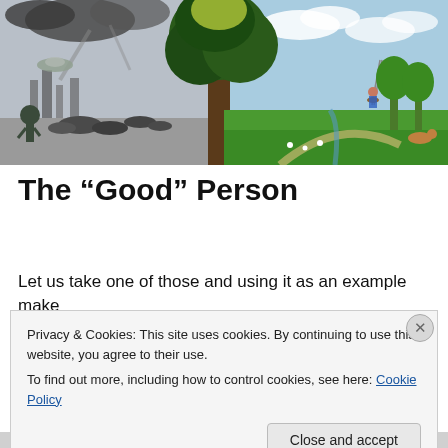[Figure (illustration): A split illustration showing two contrasting scenes divided by a large tree: left side is dark and post-apocalyptic with smoke and alien spacecraft; right side is bright and idyllic with a girl on a swing, green grass, and a dog.]
The “Good” Person
Let us take one of those and using it as an example make
Privacy & Cookies: This site uses cookies. By continuing to use this website, you agree to their use.
To find out more, including how to control cookies, see here: Cookie Policy
Close and accept